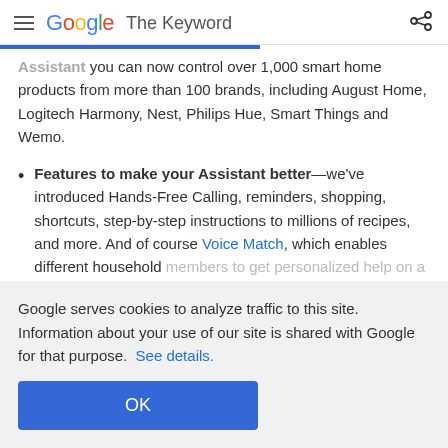Google The Keyword
Assistant you can now control over 1,000 smart home products from more than 100 brands, including August Home, Logitech Harmony, Nest, Philips Hue, Smart Things and Wemo.
Features to make your Assistant better—we've introduced Hands-Free Calling, reminders, shopping, shortcuts, step-by-step instructions to millions of recipes, and more. And of course Voice Match, which enables different household members to get personalized help on a shared device. So...
Google serves cookies to analyze traffic to this site. Information about your use of our site is shared with Google for that purpose. See details.